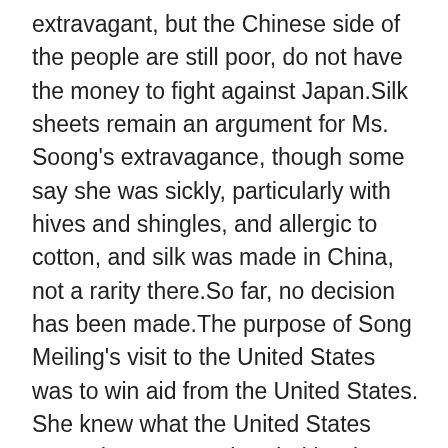extravagant, but the Chinese side of the people are still poor, do not have the money to fight against Japan.Silk sheets remain an argument for Ms. Soong's extravagance, though some say she was sickly, particularly with hives and shingles, and allergic to cotton, and silk was made in China, not a rarity there.So far, no decision has been made.The purpose of Song Meiling's visit to the United States was to win aid from the United States. She knew what the United States wanted to see, so she tried her best to cater to them and show what they wanted to see.If the Chinese representative to the United States had been a man, it might not have achieved this effect, but the delicate and weak Song Meiling came.The image of a woman with delicate and elegant appearance, running for her country, naturally won the favor of American politicians and the public.Even the first couple can't help but fall in love.However, soong Mei-ling's performance is a kind of false prosperity, which makes it impossible for westerners